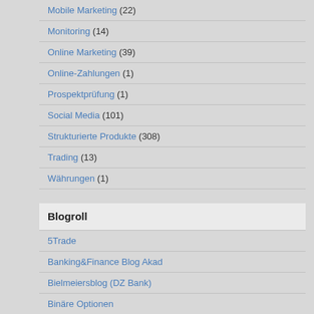Mobile Marketing (22)
Monitoring (14)
Online Marketing (39)
Online-Zahlungen (1)
Prospektprüfung (1)
Social Media (101)
Strukturierte Produkte (308)
Trading (13)
Währungen (1)
Blogroll
5Trade
Banking&Finance Blog Akad
Bielmeiersblog (DZ Bank)
Binäre Optionen
Blackrock Blog
Blicklog